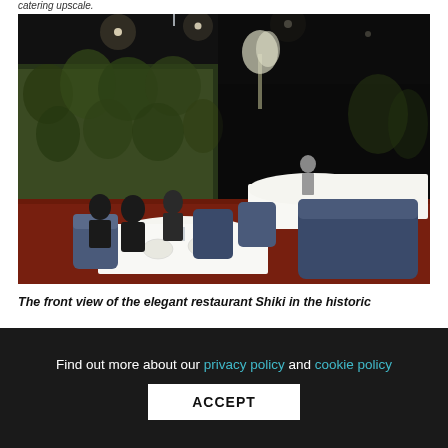catering upscale.
[Figure (photo): Interior of restaurant Shiki, showing elegantly set tables with white tablecloths, blue upholstered chairs, diners seated, green plant wall in the background, dark ceiling with spotlights, and red carpet flooring.]
The front view of the elegant restaurant Shiki in the historic
Find out more about our privacy policy and cookie policy
ACCEPT